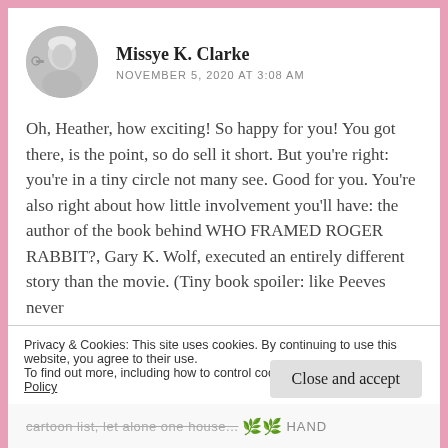Missye K. Clarke
NOVEMBER 5, 2020 AT 3:08 AM
Oh, Heather, how exciting! So happy for you! You got there, is the point, so do sell it short. But you're right: you're in a tiny circle not many see. Good for you. You're also right about how little involvement you'll have: the author of the book behind WHO FRAMED ROGER RABBIT?, Gary K. Wolf, executed an entirely different story than the movie. (Tiny book spoiler: like Peeves never
Privacy & Cookies: This site uses cookies. By continuing to use this website, you agree to their use.
To find out more, including how to control cookies, see here: Cookie Policy
Close and accept
cartoon list, let alone one house... 🌿🌿 HAND